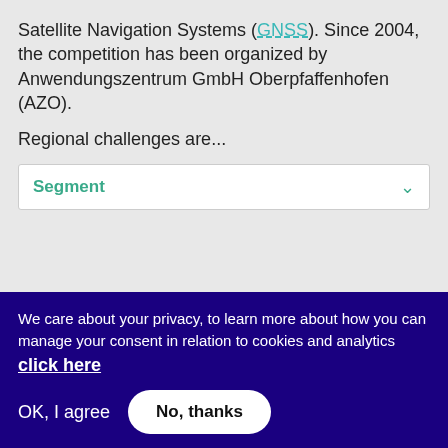Satellite Navigation Systems (GNSS). Since 2004, the competition has been organized by Anwendungszentrum GmbH Oberpfaffenhofen (AZO).
Regional challenges are...
Segment
1  2  next ›  last »
[Figure (other): RSS feed icon (orange square with white wifi-like signal symbol)]
We care about your privacy, to learn more about how you can manage your consent in relation to cookies and analytics click here
OK, I agree   No, thanks